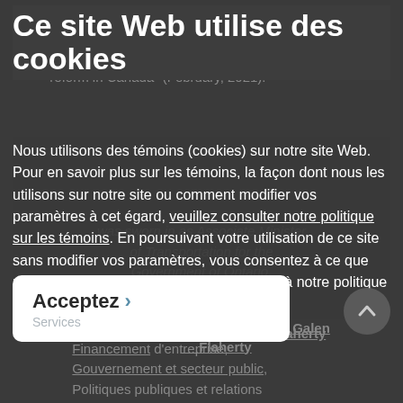Ce site Web utilise des cookies
Nous utilisons des témoins (cookies) sur notre site Web. Pour en savoir plus sur les témoins, la façon dont nous les utilisons sur notre site ou comment modifier vos paramètres à cet égard, veuillez consulter notre politique sur les témoins. En poursuivant votre utilisation de ce site sans modifier vos paramètres, vous consentez à ce que nous utilisions des témoins conformément à notre politique connexe.
Par : Cameron A. MacDonald, Galen Flaherty
Acceptez > Services Marchés financiers, Financement d'entreprise, Gouvernement et secteur public, Politiques publiques et relations
Marchés financiers, Financement d'entreprise, Gouvernement et secteur public, Politiques publiques et relations